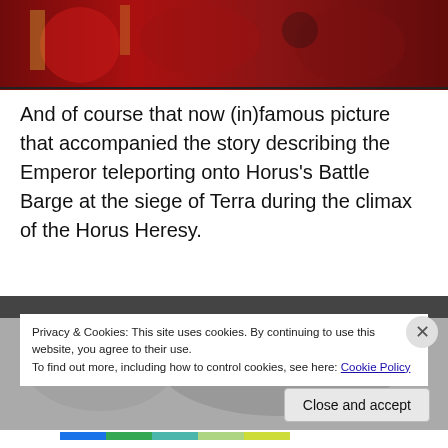[Figure (photo): Partial view of a Warhammer fantasy illustration showing armored figures in red, battle scene artwork]
And of course that now (in)famous picture that accompanied the story describing the Emperor teleporting onto Horus's Battle Barge at the siege of Terra during the climax of the Horus Heresy.
[Figure (photo): Partial view of a black and white illustration at the bottom of the page, partially obscured by cookie banner]
Privacy & Cookies: This site uses cookies. By continuing to use this website, you agree to their use.
To find out more, including how to control cookies, see here: Cookie Policy